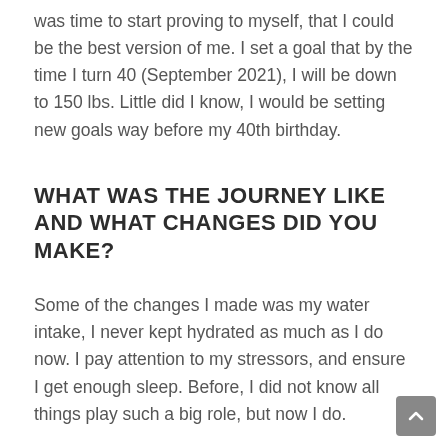was time to start proving to myself, that I could be the best version of me. I set a goal that by the time I turn 40 (September 2021), I will be down to 150 lbs. Little did I know, I would be setting new goals way before my 40th birthday.
WHAT WAS THE JOURNEY LIKE AND WHAT CHANGES DID YOU MAKE?
Some of the changes I made was my water intake, I never kept hydrated as much as I do now. I pay attention to my stressors, and ensure I get enough sleep. Before, I did not know all things play such a big role, but now I do.